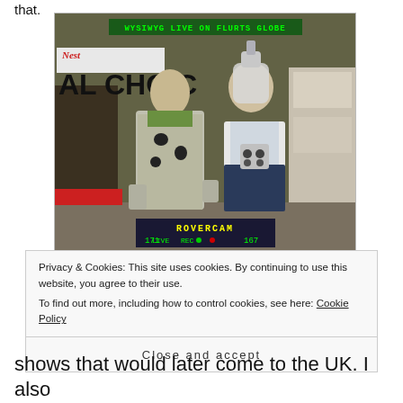that.
[Figure (photo): Two people dressed in sci-fi/space costumes standing in what appears to be a supermarket or store. The left person wears a silver suit with black spots and a green undergarment. The right person wears a white and dark blue outfit with a helmet-like headpiece. The TV screen shows overlay text: 'WYSIWYG LIVE ON FLURTS GLOBE' at top, partial text 'AL CHOIC' on the left, 'ROVERCAM' at the bottom with numbers 171 and 167.]
Privacy & Cookies: This site uses cookies. By continuing to use this website, you agree to their use.
To find out more, including how to control cookies, see here: Cookie Policy
Close and accept
shows that would later come to the UK. I also